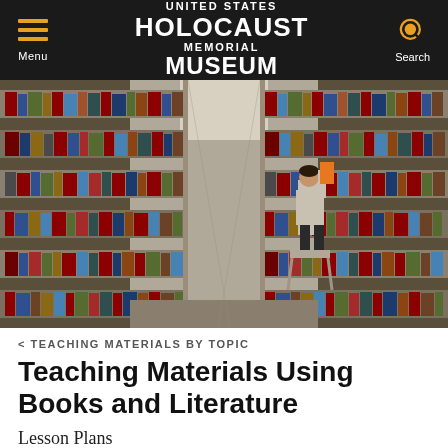UNITED STATES HOLOCAUST MEMORIAL MUSEUM
[Figure (photo): A person standing on a step stool reaching for books on a tall library shelf, with rows of books on both sides of the aisle]
< TEACHING MATERIALS BY TOPIC
Teaching Materials Using Books and Literature
Lesson Plans